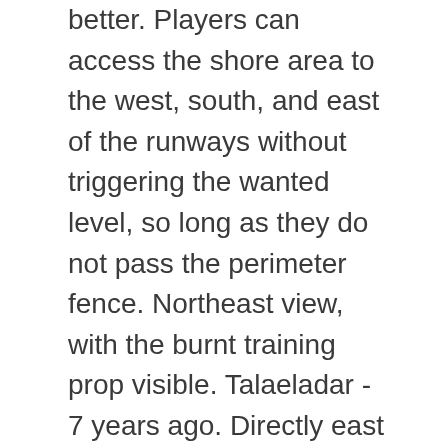better. Players can access the shore area to the west, south, and east of the runways without triggering the wanted level, so long as they do not pass the perimeter fence. Northeast view, with the burnt training prop visible. Talaeladar - 7 years ago. Directly east of the southern row of hangars, in the southeast corner of the airport, is a concrete pad that appears to be the planned location for another hangar. The Sightings Bar & Restaurant, with the AT-400 based statues next to it. VIP Members don't see Ads. Ripleys and airport buses can also be seen roaming around the tarmac and surrounding roads (See vehicles for more information). Overview I've stolen and stored two planes, and purchased a stunt plane. " I went to it and I bought an airplane (Luxor). 2